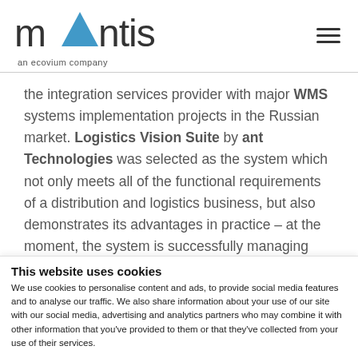[Figure (logo): Mantis logo with blue triangle replacing the letter A, text 'mantis' in dark grey, tagline 'an ecovium company' below]
the integration services provider with major WMS systems implementation projects in the Russian market. Logistics Vision Suite by ant Technologies was selected as the system which not only meets all of the functional requirements of a distribution and logistics business, but also demonstrates its advantages in practice – at the moment, the system is successfully managing warehouse complexes at a number of major
This website uses cookies
We use cookies to personalise content and ads, to provide social media features and to analyse our traffic. We also share information about your use of our site with our social media, advertising and analytics partners who may combine it with other information that you've provided to them or that they've collected from your use of their services.